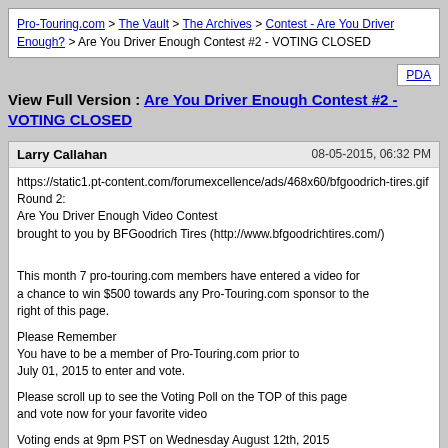Pro-Touring.com > The Vault > The Archives > Contest - Are You Driver Enough? > Are You Driver Enough Contest #2 - VOTING CLOSED
View Full Version : Are You Driver Enough Contest #2 - VOTING CLOSED
Larry Callahan  08-05-2015, 06:32 PM
https://static1.pt-content.com/forumexcellence/ads/468x60/bfgoodrich-tires.gif
Round 2:
Are You Driver Enough Video Contest
brought to you by BFGoodrich Tires (http://www.bfgoodrichtires.com/)

This month 7 pro-touring.com members have entered a video for a chance to win $500 towards any Pro-Touring.com sponsor to the right of this page.

Please Remember
You have to be a member of Pro-Touring.com prior to July 01, 2015 to enter and vote.

Please scroll up to see the Voting Poll on the TOP of this page and vote now for your favorite video

Voting ends at 9pm PST on Wednesday August 12th, 2015
Winner announced the following day Thursday August 13th

Good luck to everyone who entered!

Video #1 John Lopez and his 1972 Camaro is below
uu9umFGzCjg